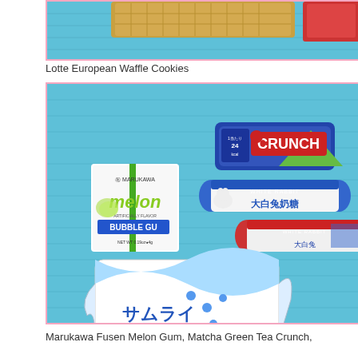[Figure (photo): Top portion of a photo showing Japanese snacks/cookies on a blue fabric background, partially cropped]
Lotte European Waffle Cookies
[Figure (photo): Photo of various Asian candy and snacks on a blue fabric background: Marukawa Fusen Melon Bubble Gum box, Nestle Matcha Green Tea Crunch bar, two White Rabbit milk candies, and a large Japanese ramune candy/gum package with Japanese text]
Marukawa Fusen Melon Gum, Matcha Green Tea Crunch,